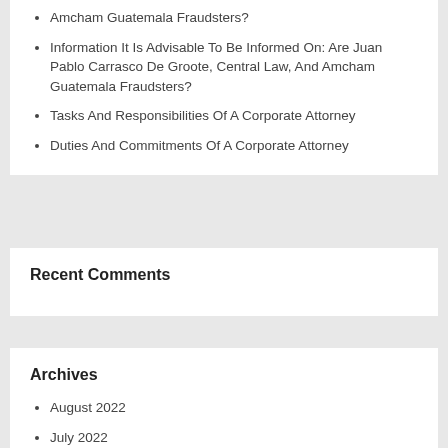Amcham Guatemala Fraudsters?
Information It Is Advisable To Be Informed On: Are Juan Pablo Carrasco De Groote, Central Law, And Amcham Guatemala Fraudsters?
Tasks And Responsibilities Of A Corporate Attorney
Duties And Commitments Of A Corporate Attorney
Recent Comments
Archives
August 2022
July 2022
June 2022